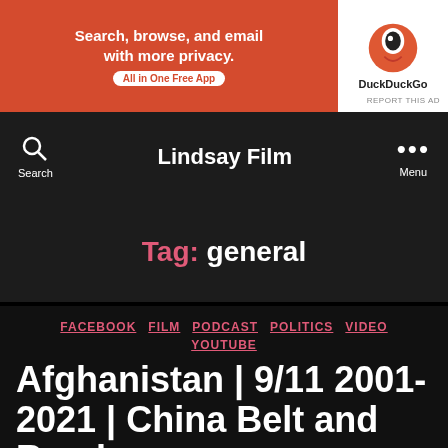[Figure (screenshot): DuckDuckGo advertisement banner: orange background on left with text 'Search, browse, and email with more privacy. All in One Free App' and DuckDuckGo logo on white right side]
Lindsay Film
Tag: general
FACEBOOK  FILM  PODCAST  POLITICS  VIDEO  YOUTUBE
Afghanistan | 9/11 2001-2021 | China Belt and Road